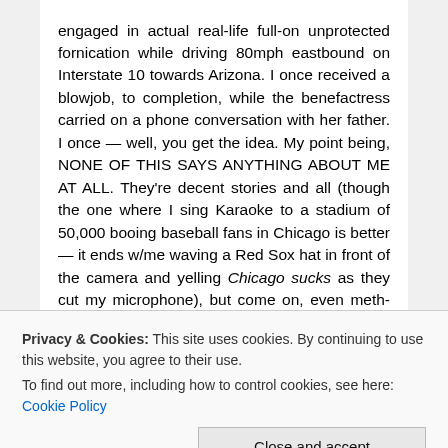engaged in actual real-life full-on unprotected fornication while driving 80mph eastbound on Interstate 10 towards Arizona. I once received a blowjob, to completion, while the benefactress carried on a phone conversation with her father. I once — well, you get the idea. My point being, NONE OF THIS SAYS ANYTHING ABOUT ME AT ALL. They're decent stories and all (though the one where I sing Karaoke to a stadium of 50,000 booing baseball fans in Chicago is better — it ends w/me waving a Red Sox hat in front of the camera and yelling Chicago sucks as they cut my microphone), but come on, even meth-head Florida rednecks can do better than
Privacy & Cookies: This site uses cookies. By continuing to use this website, you agree to their use.
To find out more, including how to control cookies, see here: Cookie Policy
sexual fetish and the drummer bringing a copy